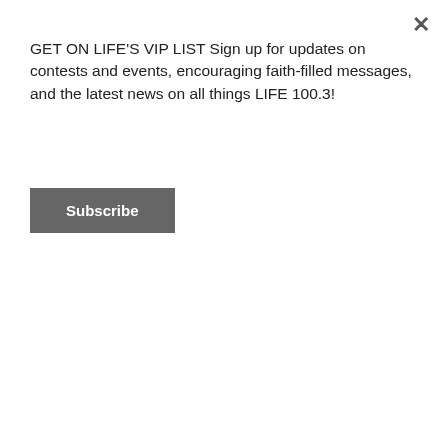GET ON LIFE'S VIP LIST Sign up for updates on contests and events, encouraging faith-filled messages, and the latest news on all things LIFE 100.3!
Subscribe
| 72 | 73 | 74 | 75 | 76 | 77 | 78 |
| 79 | 80 | 81 | 82 | 83 | 84 | 85 |
| 86 | 87 | 88 | 89 | 90 | 91 | 92 |
| 93 | 94 | 95 | 96 | 97 | 98 | 99 |
| 100 | 101 | 102 | 103 | 104 |
| 105 | 106 | 107 | 108 | 109 |
| 110 | 111 | 112 | 113 | 114 |
| 115 | 116 | 117 | 118 | 119 |